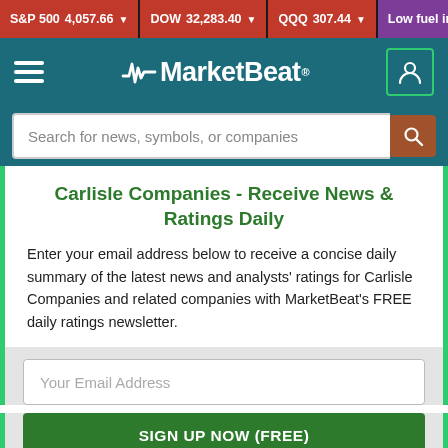S&P 500 4,057.66 ▼   DOW 32,283.40 ▼   QQQ 307.44 ▼   Low fuel inv
[Figure (screenshot): MarketBeat website navigation bar with hamburger menu, MarketBeat logo with heartbeat wave, and user account icon]
Search for news, symbols, or companies
Carlisle Companies - Receive News & Ratings Daily
Enter your email address below to receive a concise daily summary of the latest news and analysts' ratings for Carlisle Companies and related companies with MarketBeat's FREE daily ratings newsletter.
Your Email Address
SIGN UP NOW (FREE)
or
Sign up with Google